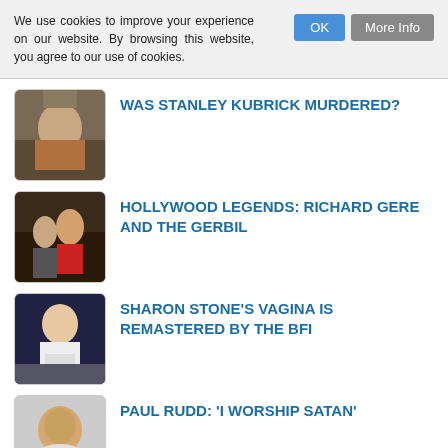We use cookies to improve your experience on our website. By browsing this website, you agree to our use of cookies.
WAS STANLEY KUBRICK MURDERED?
HOLLYWOOD LEGENDS: RICHARD GERE AND THE GERBIL
SHARON STONE'S VAGINA IS REMASTERED BY THE BFI
PAUL RUDD: 'I WORSHIP SATAN'